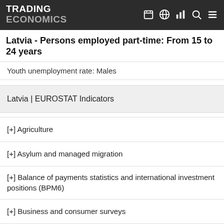TRADING ECONOMICS
Latvia - Persons employed part-time: From 15 to 24 years
Youth unemployment rate: Males
Latvia | EUROSTAT Indicators
[+] Agriculture
[+] Asylum and managed migration
[+] Balance of payments statistics and international investment positions (BPM6)
[+] Business and consumer surveys
[+] Construction, building and civil engineering